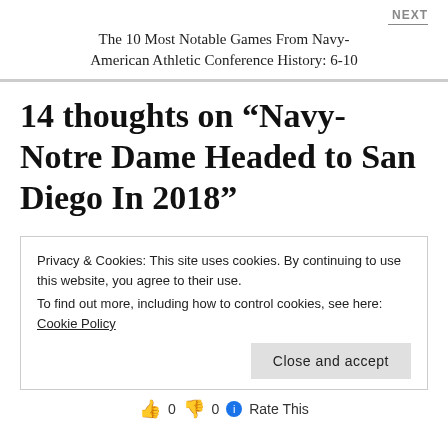NEXT
The 10 Most Notable Games From Navy-American Athletic Conference History: 6-10
14 thoughts on “Navy-Notre Dame Headed to San Diego In 2018”
Privacy & Cookies: This site uses cookies. By continuing to use this website, you agree to their use.
To find out more, including how to control cookies, see here: Cookie Policy
Close and accept
0  0  Rate This